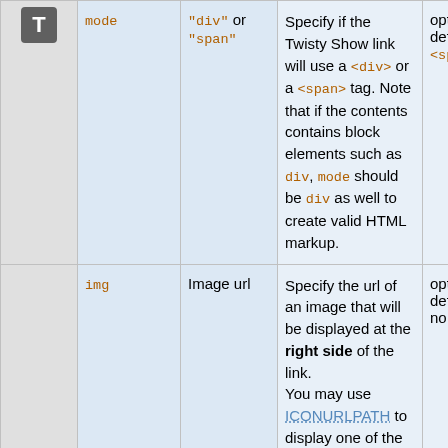|  | Parameter | Values | Description | Optional |
| --- | --- | --- | --- | --- |
| T | mode | "div" or "span" | Specify if the Twisty Show link will use a <div> or a <span> tag. Note that if the contents contains block elements such as div, mode should be div as well to create valid HTML markup. | optional, defaults to <span> |
|  | img | Image url | Specify the url of an image that will be displayed at the right side of the link. You may use ICONURLPATH to display one of the TWikiDocGraphics icons. Alternatively | optional, defaults to no image |